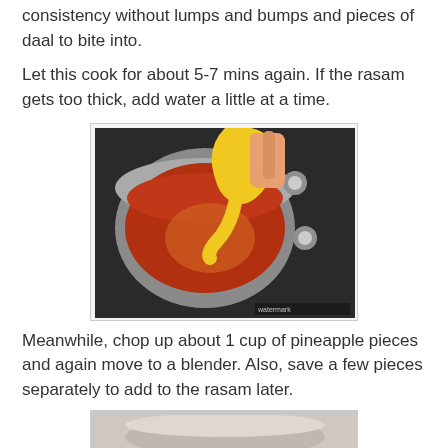consistency without lumps and bumps and pieces of daal to bite into.
Let this cook for about 5-7 mins again. If the rasam gets too thick, add water a little at a time.
[Figure (photo): A hand pouring yellow liquid (cooked dal) from a yellow bowl into a pot of red rasam on a gas stove.]
Meanwhile, chop up about 1 cup of pineapple pieces and again move to a blender. Also, save a few pieces separately to add to the rasam later.
[Figure (photo): Partial view of a blender or bowl at the bottom of the page, cropped.]